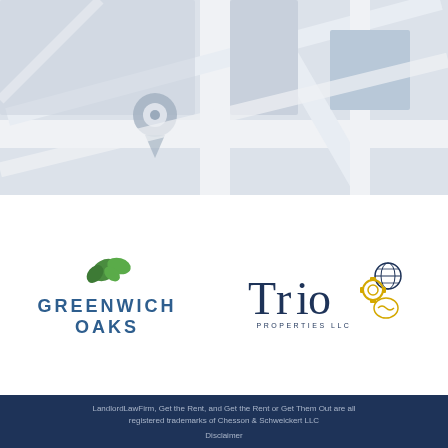[Figure (map): Light gray street map background with roads and a location/camera pin icon in the upper left area]
[Figure (logo): Greenwich Oaks logo with green leaf icon and dark blue text 'GREENWICH OAKS' in bold spaced lettering]
[Figure (logo): Trio Properties LLC logo with stylized 'TRIO' text in dark navy, yellow gear and globe icons, and 'PROPERTIES LLC' in small caps below]
LandlordLawFirm, Get the Rent, and Get the Rent or Get Them Out are all registered trademarks of Chesson & Schweickert LLC
Disclaimer